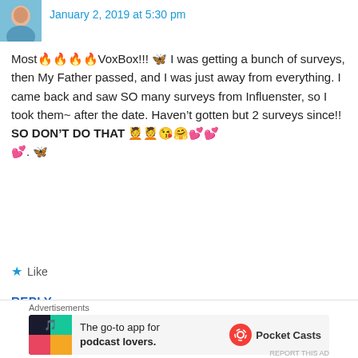[Figure (photo): Small profile avatar photo of a person in blue]
January 2, 2019 at 5:30 pm
Most🔥🔥🔥🔥VoxBox!!! 🦋 I was getting a bunch of surveys, then My Father passed, and I was just away from everything. I came back and saw SO many surveys from Influenster, so I took them~ after the date. Haven't gotten but 2 surveys since!! SO DON'T DO THAT 🙆🙆😘🤗💕💕💕. 🦋
★ Like
REPLY
Advertisements
[Figure (screenshot): Orange advertisement banner for DuckDuckGo: Search, browse, and email with more privacy.]
Advertisements
[Figure (screenshot): Pocket Casts advertisement: The go-to app for podcast lovers.]